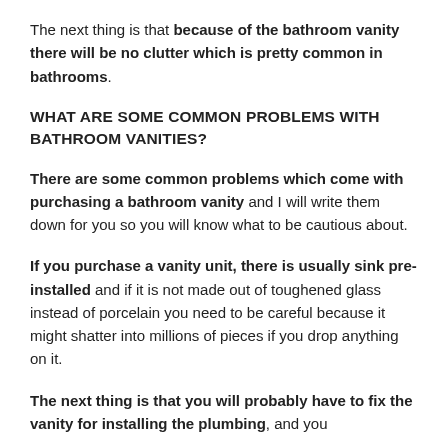The next thing is that because of the bathroom vanity there will be no clutter which is pretty common in bathrooms.
WHAT ARE SOME COMMON PROBLEMS WITH BATHROOM VANITIES?
There are some common problems which come with purchasing a bathroom vanity and I will write them down for you so you will know what to be cautious about.
If you purchase a vanity unit, there is usually sink pre-installed and if it is not made out of toughened glass instead of porcelain you need to be careful because it might shatter into millions of pieces if you drop anything on it.
The next thing is that you will probably have to fix the vanity for installing the plumbing, and you